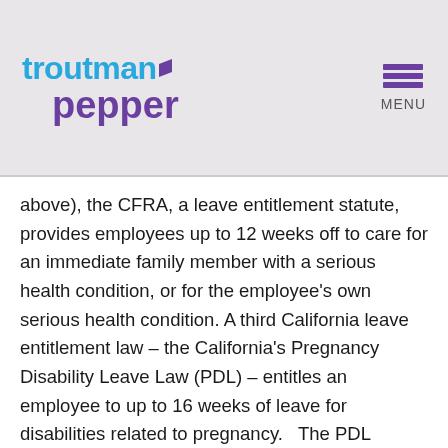troutman pepper [logo with navigation menu]
above), the CFRA, a leave entitlement statute, provides employees up to 12 weeks off to care for an immediate family member with a serious health condition, or for the employee's own serious health condition. A third California leave entitlement law – the California's Pregnancy Disability Leave Law (PDL) – entitles an employee to up to 16 weeks of leave for disabilities related to pregnancy.   The PDL applies to employers with five or more employees nationwide, and there is no minimum requirement of number of hours or years worked for an employee to be eligible.
California's leave entitlement laws work in